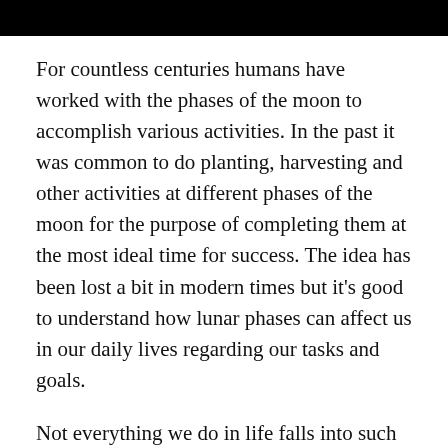For countless centuries humans have worked with the phases of the moon to accomplish various activities. In the past it was common to do planting, harvesting and other activities at different phases of the moon for the purpose of completing them at the most ideal time for success. The idea has been lost a bit in modern times but it's good to understand how lunar phases can affect us in our daily lives regarding our tasks and goals.
Not everything we do in life falls into such short cycles but being aware of the phases can help us to reflect on our situation, create actionable plans, start something new, work on projects, complete processes, and release that which no longer serves us. The lunar phases affect our quality of sleep, the tides